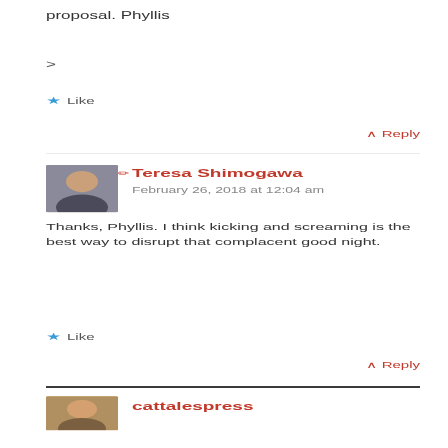proposal. Phyllis
>
★ Like
^ Reply
✏ Teresa Shimogawa
February 26, 2018 at 12:04 am
Thanks, Phyllis. I think kicking and screaming is the best way to disrupt that complacent good night.
★ Like
^ Reply
cattalespress